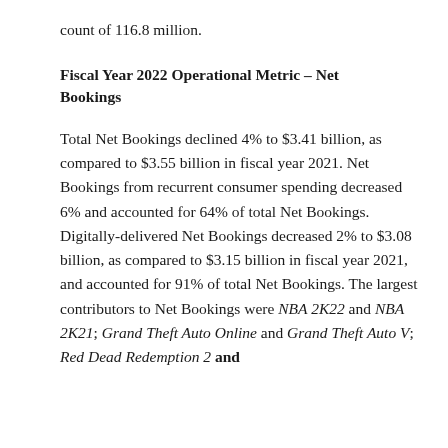count of 116.8 million.
Fiscal Year 2022 Operational Metric - Net Bookings
Total Net Bookings declined 4% to $3.41 billion, as compared to $3.55 billion in fiscal year 2021. Net Bookings from recurrent consumer spending decreased 6% and accounted for 64% of total Net Bookings. Digitally-delivered Net Bookings decreased 2% to $3.08 billion, as compared to $3.15 billion in fiscal year 2021, and accounted for 91% of total Net Bookings. The largest contributors to Net Bookings were NBA 2K22 and NBA 2K21; Grand Theft Auto Online and Grand Theft Auto V; Red Dead Redemption 2 and